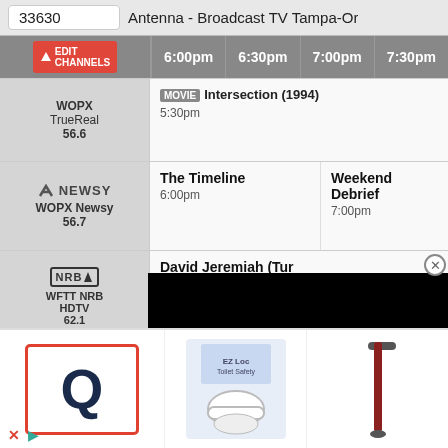33630 | Antenna - Broadcast TV Tampa-Or
| Channel | 6:00pm | 6:30pm | 7:00pm | 7:30pm |
| --- | --- | --- | --- | --- |
| WOPX TrueReal 56.6 | MOVIE Intersection (1994) 5:30pm |  |  |  |
| WOPX Newsy 56.7 (NEWSY) | The Timeline 6:00pm |  | Weekend Debrief 7:00pm |  |
| WFTT NRB HDTV 62.1 (NRB) | David Jeremiah (Turning Point) 6:00pm |  |  |  |
[Figure (screenshot): TV guide grid showing broadcast channels for Tampa area with time slots from 6:00pm to 7:30pm. Channels shown: WOPX TrueReal 56.6, WOPX Newsy 56.7, WFTT NRB HDTV 62.1. A black video overlay is visible on the right side. An advertisement bar is shown at the bottom featuring a Q logo, a toilet lift product, and a walking cane.]